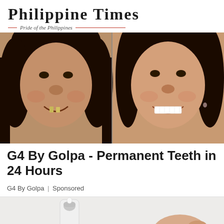Philippine Times — Pride of the Philippines
[Figure (photo): Before and after dental photo showing two women side by side: left with missing/damaged teeth, right with perfect white smile]
G4 By Golpa - Permanent Teeth in 24 Hours
G4 By Golpa | Sponsored
[Figure (photo): Close-up photo of a white tube of dental/cosmetic product being held or squeezed, light grey background]